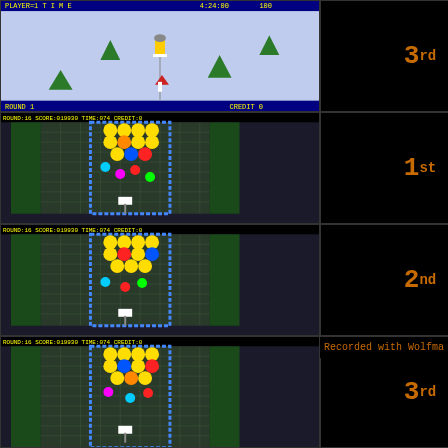[Figure (screenshot): Water Ski game screenshot showing player on water with islands, ROUND 1 CREDIT 0 display]
3rd
Water Ski (waterski)
Ray A
[Figure (screenshot): Water Balls (watrball) game screenshot, ROUND:16 SCORE:019930 TIME:074 CREDIT:0]
1st
Water Balls (watrball)
Phill
[Figure (screenshot): Water Balls (watrball) game screenshot, ROUND:16 SCORE:019930 TIME:074 CREDIT:0]
2nd
Water Balls (watrball)
A
Recorded with Wolfma
[Figure (screenshot): Water Balls (watrball) game screenshot, ROUND:16 SCORE:019930 TIME:074 CREDIT:0]
3rd
Water Balls (watrball)
Gerhard